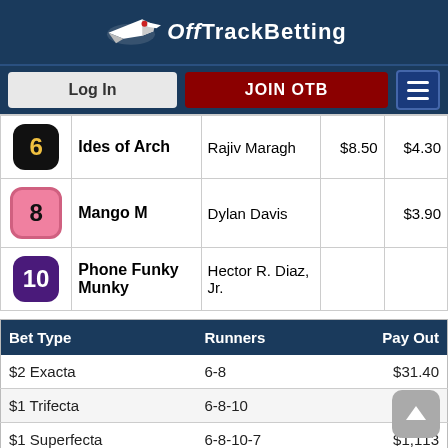[Figure (logo): OffTrackBetting logo with bird graphic and text on dark navy background]
| # | Horse | Jockey | Win | Place |
| --- | --- | --- | --- | --- |
| 6 | Ides of Arch | Rajiv Maragh | $8.50 | $4.30 |
| 8 | Mango M | Dylan Davis |  | $3.90 |
| 10 | Phone Funky Munky | Hector R. Diaz, Jr. |  |  |
| Bet Type | Runners | Pay Out |
| --- | --- | --- |
| $2 Exacta | 6-8 | $31.40 |
| $1 Trifecta | 6-8-10 | $76.25 |
| $1 Superfecta | 6-8-10-7 | $1,113... |
| $2 Daily Double | 3/6 | $37.00 |